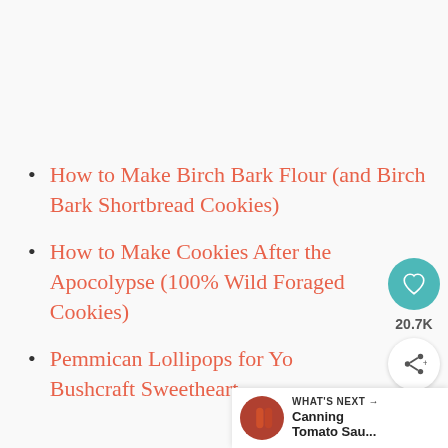How to Make Birch Bark Flour (and Birch Bark Shortbread Cookies)
How to Make Cookies After the Apocolypse (100% Wild Foraged Cookies)
Pemmican Lollipops for Yo... Bushcraft Sweetheart